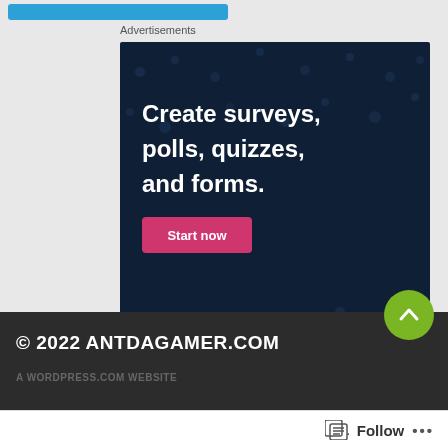Advertisements
[Figure (screenshot): Advertisement banner for Crowdsignal/WordPress: dark navy background with dot pattern, bold white text 'Create surveys, polls, quizzes, and forms.', a pink 'Start now' button, WordPress logo bottom-left, Crowdsignal circular logo bottom-right.]
REPORT THIS AD
© 2022 ANTDAGAMER.COM
Follow
...